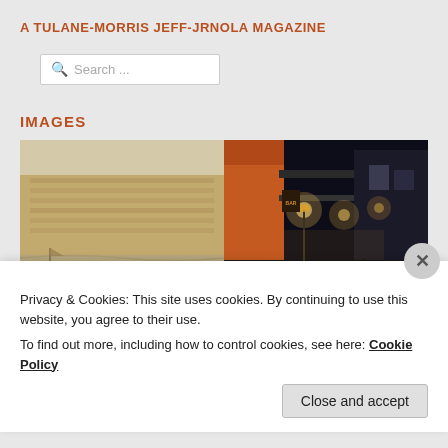A TULANE-MORRIS JEFF-JRNOLA MAGAZINE
Search ...
IMAGES
[Figure (photo): Two side-by-side photos: left is a sepia aerial/panoramic illustration of the city of New Orleans with caption 'THE CITY OF NEW ORLEANS'; right is a nighttime street photo of New Orleans with illuminated lights along a busy street.]
Privacy & Cookies: This site uses cookies. By continuing to use this website, you agree to their use.
To find out more, including how to control cookies, see here: Cookie Policy
Close and accept